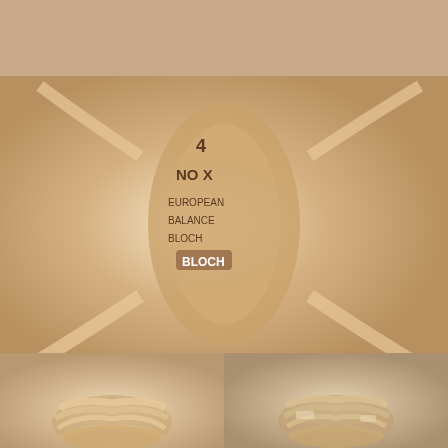[Figure (photo): Two worn ballet pointe shoes seen from the sole, with ribbons spread out, on a light background]
[Figure (photo): Close-up of the sole of a Bloch pointe shoe showing size markings: 4, NO X, and other text including BLOCH brand stamp]
Then, of course, my pointe shoes! Like I said in my pointe fitting vlog, I wear Bloch European Balance, size 4, No X. Translation for non dancers: the number of “X” you have determines the width of your shoe – so if you had XXXX, you’d have really wide feet, and No X means your feet are so narrow that they’re not even wide enough to have one X. Like me. 😂
<
[Figure (photo): Close-up of a ballet dancer’s feet in pink satin pointe shoes with ribbons wrapped around the ankles]
[Figure (photo): Close-up of another angle of ballet dancer’s feet in pointe shoes with ribbons, slightly different wrapping]